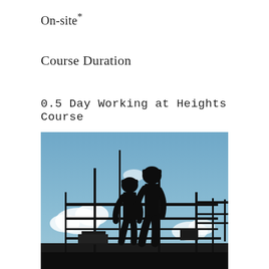On-site*
Course Duration
0.5 Day Working at Heights Course
[Figure (photo): Silhouette of two construction workers wearing hard hats standing on elevated scaffolding structure against a blue sky with white clouds]